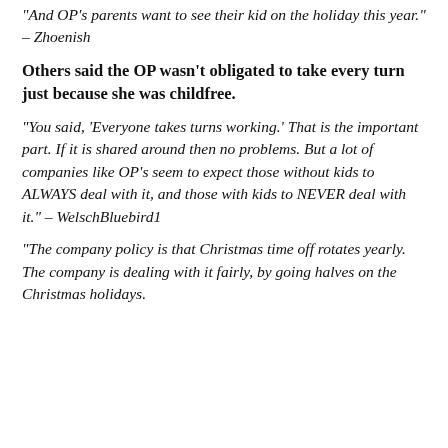“And OP’s parents want to see their kid on the holiday this year.” – Zhoenish
Others said the OP wasn’t obligated to take every turn just because she was childfree.
“You said, ‘Everyone takes turns working.’ That is the important part. If it is shared around then no problems. But a lot of companies like OP’s seem to expect those without kids to ALWAYS deal with it, and those with kids to NEVER deal with it.” – WelschBluebird1
“The company policy is that Christmas time off rotates yearly. The company is dealing with it fairly, by going halves on the Christmas holidays.